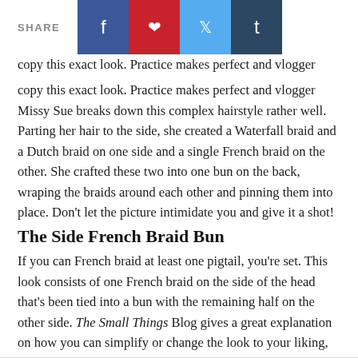SHARE [facebook] [pinterest] [twitter] [tumblr]
copy this exact look. Practice makes perfect and vlogger Missy Sue breaks down this complex hairstyle rather well. Parting her hair to the side, she created a Waterfall braid and a Dutch braid on one side and a single French braid on the other. She crafted these two into one bun on the back, wraping the braids around each other and pinning them into place. Don’t let the picture intimidate you and give it a shot!
The Side French Braid Bun
If you can French braid at least one pigtail, you’re set. This look consists of one French braid on the side of the head that’s been tied into a bun with the remaining half on the other side. The Small Things Blog gives a great explanation on how you can simplify or change the look to your liking, too.